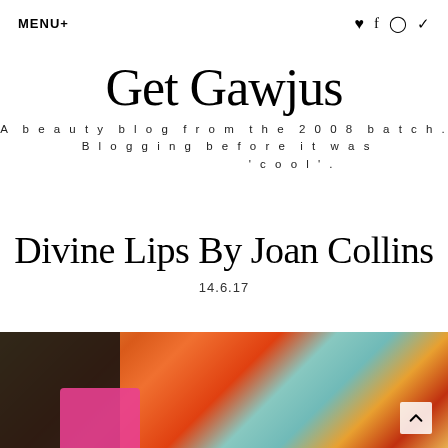MENU+
Get Gawjus
A beauty blog from the 2008 batch. Blogging before it was 'cool'.
Divine Lips By Joan Collins
14.6.17
[Figure (photo): Cosmetics/makeup items including a pink lipstick against an orange and teal floral background]